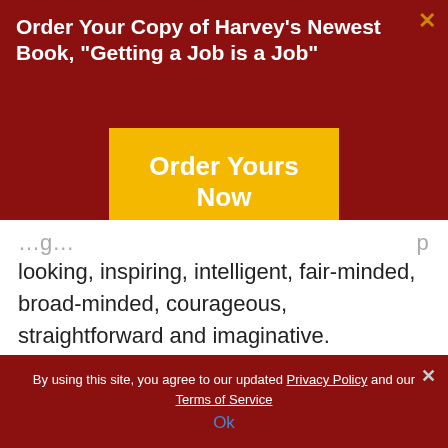Order Your Copy of Harvey's Newest Book, “Getting a Job is a Job”
[Figure (other): Yellow button with text 'Order Yours Now']
looking, inspiring, intelligent, fair-minded, broad-minded, courageous, straightforward and imaginative.
Anyone who has started a business or managed an organization understands the courage required to
By using this site, you agree to our updated Privacy Policy and our Terms of Service
Ok